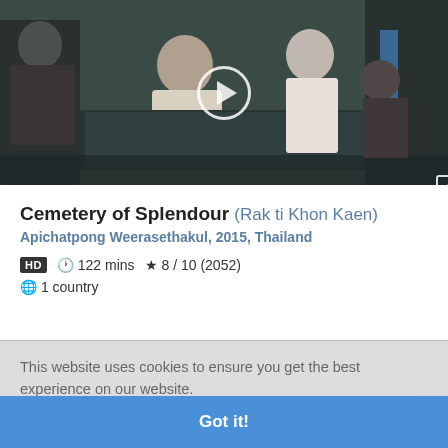[Figure (photo): Video thumbnail showing a scene from Cemetery of Splendour film — people in what appears to be a medical/ceremonial setting with a body covered in a dark blanket. A play button circle is overlaid in the center, and an expand icon is in the bottom right.]
Cemetery of Splendour (Rak ti Khon Kaen)
Apichatpong Weerasethakul, 2015, Thailand
HD  122 mins  ★ 8 / 10 (2052)
1 country
This website uses cookies to ensure you get the best experience on our website.
Learn more
Got it!